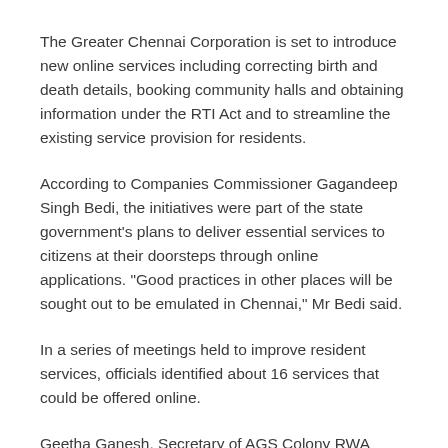The Greater Chennai Corporation is set to introduce new online services including correcting birth and death details, booking community halls and obtaining information under the RTI Act and to streamline the existing service provision for residents.
According to Companies Commissioner Gagandeep Singh Bedi, the initiatives were part of the state government’s plans to deliver essential services to citizens at their doorsteps through online applications. “Good practices in other places will be sought out to be emulated in Chennai,” Mr Bedi said.
In a series of meetings held to improve resident services, officials identified about 16 services that could be offered online.
Geetha Ganesh, Secretary of AGS Colony RWA Velachery